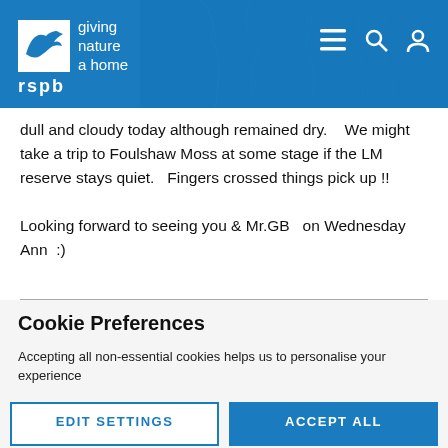[Figure (logo): RSPB logo — white bird silhouette on blue background with text 'giving nature a home' and 'rspb' with navigation icons (hamburger menu, search, user) in header]
dull and cloudy today although remained dry.   We might take a trip to Foulshaw Moss at some stage if the LM reserve stays quiet.   Fingers crossed things pick up !!

Looking forward to seeing you & Mr.GB   on Wednesday
Ann  :)
Cookie Preferences
Accepting all non-essential cookies helps us to personalise your experience